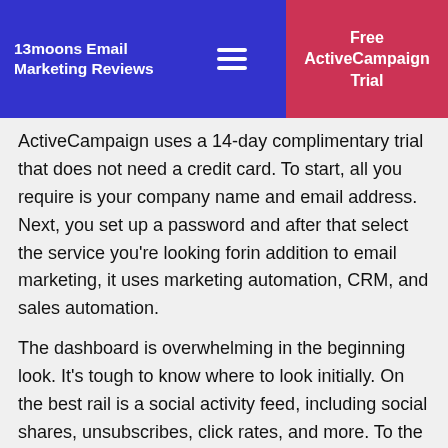13moons Email Marketing Reviews | Free ActiveCampaign Trial
ActiveCampaign uses a 14-day complimentary trial that does not need a credit card. To start, all you require is your company name and email address. Next, you set up a password and after that select the service you're looking forin addition to email marketing, it uses marketing automation, CRM, and sales automation.
The dashboard is overwhelming in the beginning look. It's tough to know where to look initially. On the best rail is a social activity feed, including social shares, unsubscribes, click rates, and more. To the left of that is an introduction of your project activity. Part of the confusion is that it's filled with sample information that vanishes